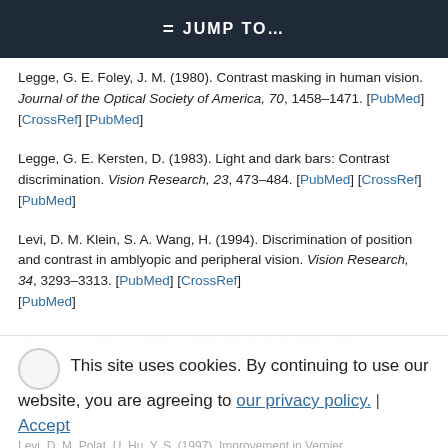JUMP TO...
Legge, G. E. Foley, J. M. (1980). Contrast masking in human vision. Journal of the Optical Society of America, 70, 1458–1471. [PubMed] [CrossRef] [PubMed]
Legge, G. E. Kersten, D. (1983). Light and dark bars: Contrast discrimination. Vision Research, 23, 473–484. [PubMed] [CrossRef] [PubMed]
Levi, D. M. Klein, S. A. Wang, H. (1994). Discrimination of position and contrast in amblyopic and peripheral vision. Vision Research, 34, 3293–3313. [PubMed] [CrossRef] [PubMed]
Levi, D. M. Polat, U. (1996). Neural plasticity in adults with...
This site uses cookies. By continuing to use our website, you are agreeing to our privacy policy. Accept